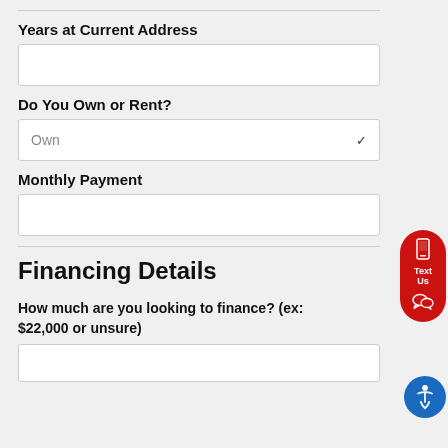Years at Current Address
Do You Own or Rent?
Own
Monthly Payment
Financing Details
How much are you looking to finance? (ex: $22,000 or unsure)